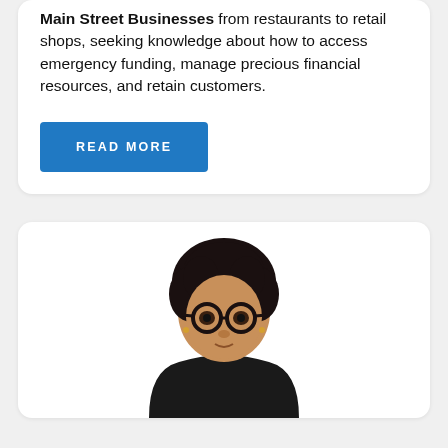Main Street Businesses from restaurants to retail shops, seeking knowledge about how to access emergency funding, manage precious financial resources, and retain customers.
[Figure (other): Blue 'READ MORE' button]
[Figure (photo): Portrait photo of a woman with natural hair and round glasses, upper body visible against white background]